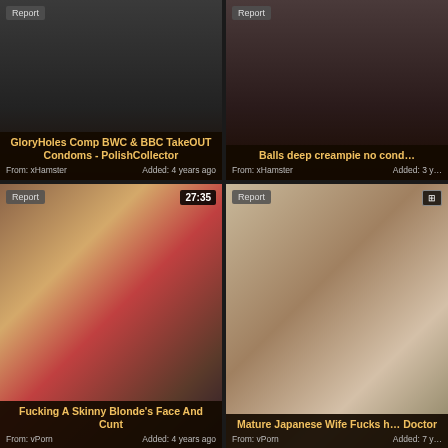[Figure (screenshot): Video thumbnail grid - top left card: dark background thumbnail with report badge]
[Figure (screenshot): Video thumbnail grid - top right card: dark background thumbnail with report badge]
[Figure (screenshot): Video thumbnail - middle left: man and blonde woman, duration 27:35, report badge]
[Figure (screenshot): Video thumbnail - middle right: illustrated/cartoon style image with report badge and VR badge]
[Figure (screenshot): Video thumbnail - bottom left: close-up image, duration 16:58]
[Figure (screenshot): Video thumbnail - bottom right: dark image with figure]